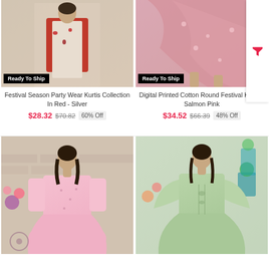[Figure (photo): Woman wearing Festival Season Party Wear Kurti in red and silver floral pattern with Ready To Ship badge]
Festival Season Party Wear Kurtis Collection In Red - Silver
$28.32 $70.82 60% Off
[Figure (photo): Close-up of Digital Printed Cotton Round Festival Kurti in Salmon Pink with Ready To Ship badge]
Digital Printed Cotton Round Festival Kurti In Salmon Pink
$34.52 $66.39 48% Off
[Figure (photo): Woman wearing pink printed floor-length Anarkali kurti]
[Figure (photo): Woman wearing sage green embroidered floor-length Anarkali kurti]